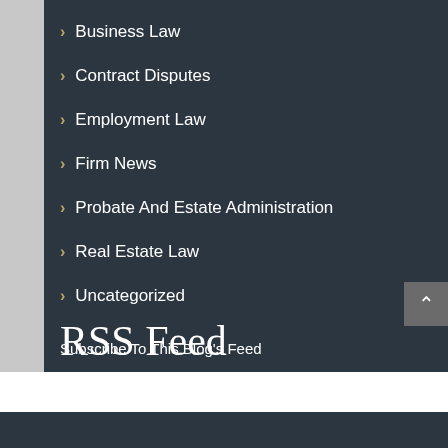Business Law
Contract Disputes
Employment Law
Firm News
Probate And Estate Administration
Real Estate Law
Uncategorized
RSS Feed
Subscribe To This Blog's Feed